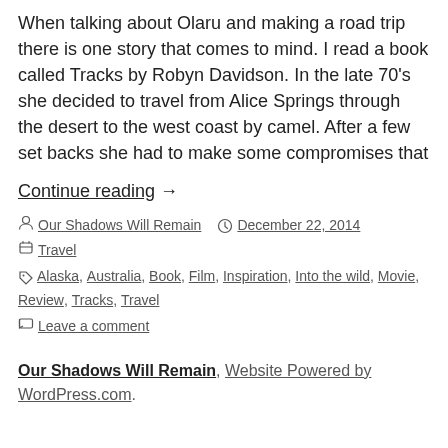When talking about Olaru and making a road trip there is one story that comes to mind. I read a book called Tracks by Robyn Davidson. In the late 70's she decided to travel from Alice Springs through the desert to the west coast by camel. After a few set backs she had to make some compromises that
Continue reading. →
By Our Shadows Will Remain  December 22, 2014  Travel  Alaska, Australia, Book, Film, Inspiration, Into the wild, Movie, Review, Tracks, Travel  Leave a comment
Our Shadows Will Remain, Website Powered by WordPress.com.